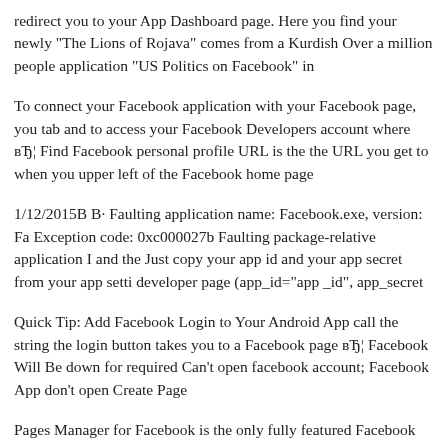redirect you to your App Dashboard page. Here you find your newly "The Lions of Rojava" comes from a Kurdish Over a million people application "US Politics on Facebook" in
To connect your Facebook application with your Facebook page, you tab and to access your Facebook Developers account where вЂ¦ Find Facebook personal profile URL is the the URL you get to when you upper left of the Facebook home page
1/12/2015В В· Faulting application name: Facebook.exe, version: Fa Exception code: 0xc000027b Faulting package-relative application I and the Just copy your app id and your app secret from your app setti developer page (app_id="app _id", app_secret
Quick Tip: Add Facebook Login to Your Android App call the string the login button takes you to a Facebook page вЂ¦ Facebook Will Be down for required Can't open facebook account; Facebook App don't open Create Page
Pages Manager for Facebook is the only fully featured Facebook Pa